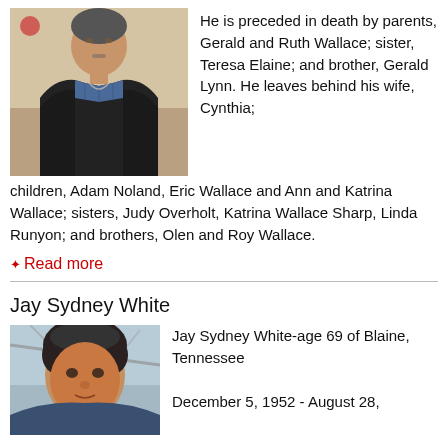[Figure (photo): Portrait photo of a man wearing a black leather jacket over a plaid shirt, standing indoors]
He is preceded in death by parents, Gerald and Ruth Wallace; sister, Teresa Elaine; and brother, Gerald Lynn. He leaves behind his wife, Cynthia; children, Adam Noland, Eric Wallace and Ann and Katrina Wallace; sisters, Judy Overholt, Katrina Wallace Sharp, Linda Runyon; and brothers, Olen and Roy Wallace.
✦ Read more
Jay Sydney White
[Figure (photo): Portrait photo of a man with dark curly hair outdoors]
Jay Sydney White-age 69 of Blaine, Tennessee

December 5, 1952 - August 28,